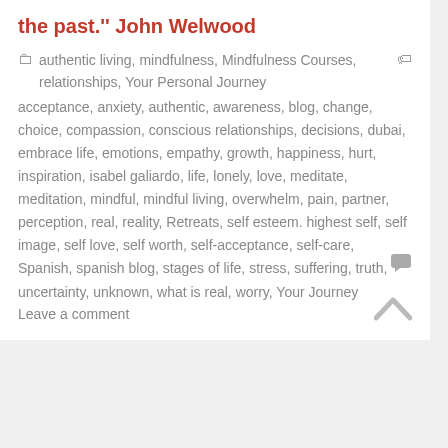the past.'' John Welwood
authentic living, mindfulness, Mindfulness Courses, relationships, Your Personal Journey
acceptance, anxiety, authentic, awareness, blog, change, choice, compassion, conscious relationships, decisions, dubai, embrace life, emotions, empathy, growth, happiness, hurt, inspiration, isabel galiardo, life, lonely, love, meditate, meditation, mindful, mindful living, overwhelm, pain, partner, perception, real, reality, Retreats, self esteem. highest self, self image, self love, self worth, self-acceptance, self-care, Spanish, spanish blog, stages of life, stress, suffering, truth, uncertainty, unknown, what is real, worry, Your Journey
Leave a comment